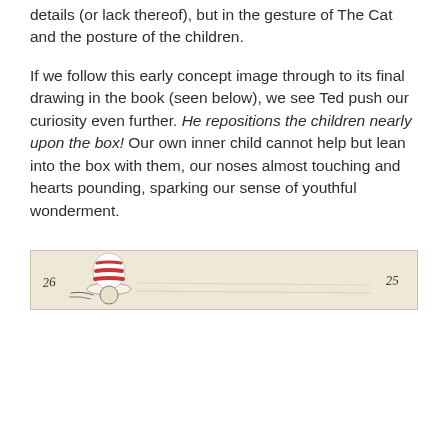details (or lack thereof), but in the gesture of The Cat and the posture of the children.
If we follow this early concept image through to its final drawing in the book (seen below), we see Ted push our curiosity even further. He repositions the children nearly upon the box! Our own inner child cannot help but lean into the box with them, our noses almost touching and hearts pounding, sparking our sense of youthful wonderment.
[Figure (illustration): A narrow horizontal sketch/drawing showing a cat figure with a red and white striped hat on the left side, and handwritten numbers/marks on both ends, on an aged cream-colored background.]